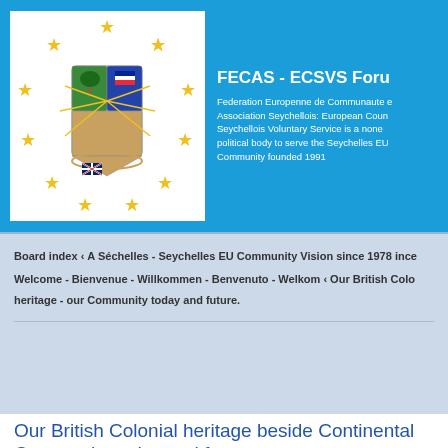[Figure (logo): FECAS-ECSVS logo with coat of arms surrounded by EU-style gold stars on white background]
FECAS - ECSVS Foru
Federation Europenne de Communaute e Association Seychellois: European Coun Seychellois Voluntary Service is a none political body to serve the Seychelles EU Community founded 1991
Board index ‹ A Séchelles - Seychelles EU Community Vision since 1978 ince Welcome - Bienvenue - Willkommen - Benvenuto - Welkom ‹ Our British Colo heritage - our Community today and future.
Our British Colonial heritage beside Continental Community today and future.
Post a new topic